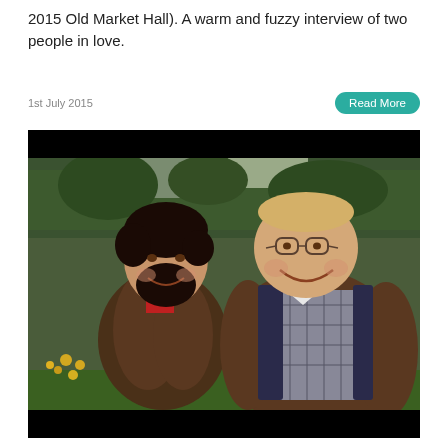2015 Old Market Hall). A warm and fuzzy interview of two people in love.
1st July 2015
Read More
[Figure (photo): Two men sitting outdoors in a park setting, smiling and laughing together. The man on the left has dark hair and a beard, wearing a red shirt under a brown jacket. The man on the right is larger, wearing glasses, a bow tie, a plaid vest, and a brown jacket. Green hedges and yellow flowers are visible in the background. The photo has black bars at the top and bottom.]